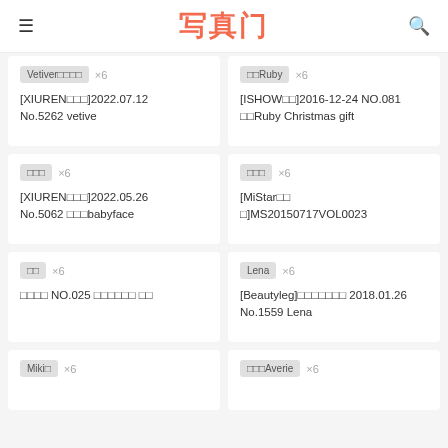写真门
Vetiver□□□□ ×6
[XIUREN□□□]2022.07.12 No.5262 vetive
□□Ruby ×6
[ISHOW□□]2016-12-24 NO.081 □□Ruby Christmas gift
□□□ ×6
[XIUREN□□□]2022.05.26 No.5062 □□□babyface
□□□ ×6
[MiStar□□□]MS20150717VOL0023
□□ ×6
□□□□ NO.025 □□□□□□ □□
Lena ×6
[Beautyleg]□□□□□□□ 2018.01.26 No.1559 Lena
Miki□ ×6
□□□Averie ×6